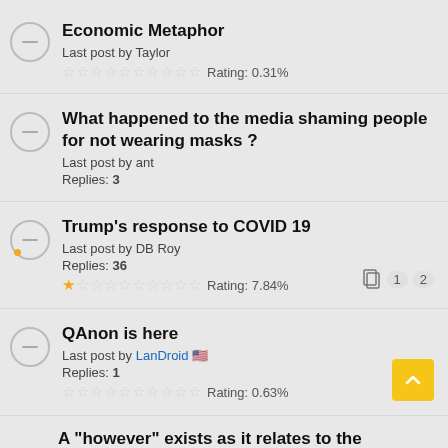Economic Metaphor
Last post by Taylor
Rating: 0.31%
What happened to the media shaming people for not wearing masks ?
Last post by ant
Replies: 3
Trump's response to COVID 19
Last post by DB Roy
Replies: 36
Rating: 7.84%
Pages: 1 2
QAnon is here
Last post by LanDroid 🇺🇸
Replies: 1
Rating: 0.63%
A "however" exists as it relates to the